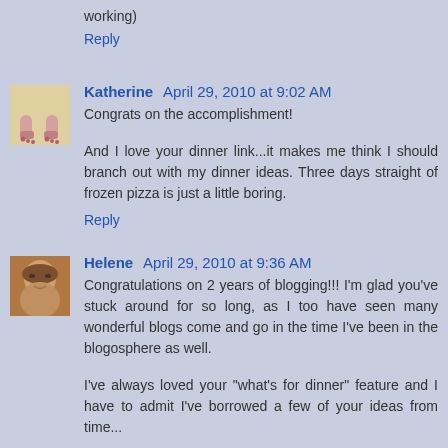working)
Reply
Katherine  April 29, 2010 at 9:02 AM
Congrats on the accomplishment!
And I love your dinner link...it makes me think I should branch out with my dinner ideas. Three days straight of frozen pizza is just a little boring.
Reply
Helene  April 29, 2010 at 9:36 AM
Congratulations on 2 years of blogging!!! I'm glad you've stuck around for so long, as I too have seen many wonderful blogs come and go in the time I've been in the blogosphere as well.
I've always loved your "what's for dinner" feature and I have to admit I've borrowed a few of your ideas from time...